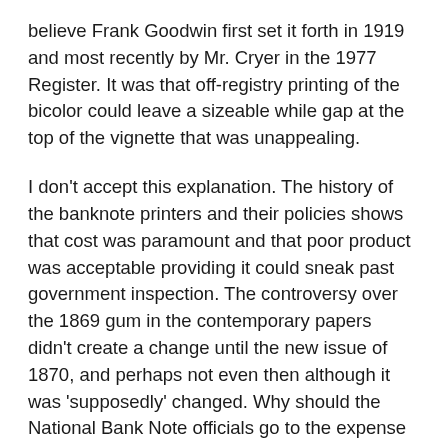believe Frank Goodwin first set it forth in 1919 and most recently by Mr. Cryer in the 1977 Register. It was that off-registry printing of the bicolor could leave a sizeable while gap at the top of the vignette that was unappealing.
I don't accept this explanation. The history of the banknote printers and their policies shows that cost was paramount and that poor product was acceptable providing it could sneak past government inspection. The controversy over the 1869 gum in the contemporary papers didn't create a change until the new issue of 1870, and perhaps not even then although it was 'supposedly' changed. Why should the National Bank Note officials go to the expense of two new plates if it wasn't necessary? The existence of an error would create a reason.
Elliott Perry has made the point, I believe correctly, that the National Bank Note Company issued and numbered plates, "in